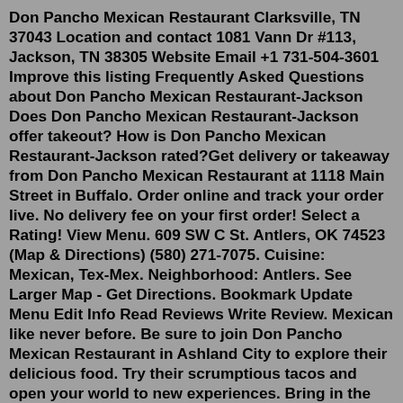Don Pancho Mexican Restaurant Clarksville, TN 37043 Location and contact 1081 Vann Dr #113, Jackson, TN 38305 Website Email +1 731-504-3601 Improve this listing Frequently Asked Questions about Don Pancho Mexican Restaurant-Jackson Does Don Pancho Mexican Restaurant-Jackson offer takeout? How is Don Pancho Mexican Restaurant-Jackson rated?Get delivery or takeaway from Don Pancho Mexican Restaurant at 1118 Main Street in Buffalo. Order online and track your order live. No delivery fee on your first order! Select a Rating! View Menu. 609 SW C St. Antlers, OK 74523 (Map & Directions) (580) 271-7075. Cuisine: Mexican, Tex-Mex. Neighborhood: Antlers. See Larger Map - Get Directions. Bookmark Update Menu Edit Info Read Reviews Write Review. Mexican like never before. Be sure to join Don Pancho Mexican Restaurant in Ashland City to explore their delicious food. Try their scrumptious tacos and open your world to new experiences. Bring in the family or grab a few friends and feel free to ask about their menu. Call them at...